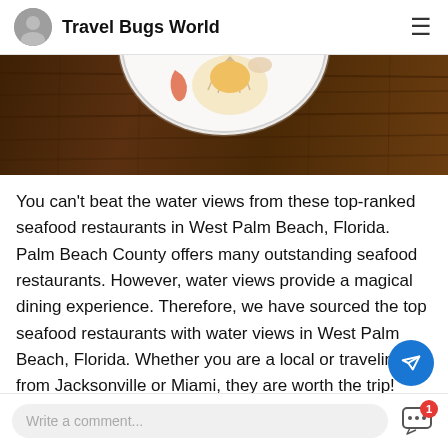Travel Bugs World
[Figure (photo): Top-down photo of a white bowl containing seafood (shrimp, scallops) placed on a dark wood surface. Only the upper portion of the bowl is visible.]
You can't beat the water views from these top-ranked seafood restaurants in West Palm Beach, Florida. Palm Beach County offers many outstanding seafood restaurants. However, water views provide a magical dining experience. Therefore, we have sourced the top seafood restaurants with water views in West Palm Beach, Florida. Whether you are a local or traveling from Jacksonville or Miami, they are worth the trip! Keep reading to find out wh...
Write a comment...